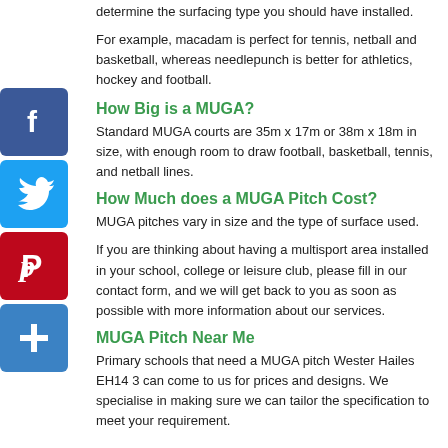determine the surfacing type you should have installed.
For example, macadam is perfect for tennis, netball and basketball, whereas needlepunch is better for athletics, hockey and football.
How Big is a MUGA?
Standard MUGA courts are 35m x 17m or 38m x 18m in size, with enough room to draw football, basketball, tennis, and netball lines.
How Much does a MUGA Pitch Cost?
MUGA pitches vary in size and the type of surface used.
If you are thinking about having a multisport area installed in your school, college or leisure club, please fill in our contact form, and we will get back to you as soon as possible with more information about our services.
MUGA Pitch Near Me
Primary schools that need a MUGA pitch Wester Hailes EH14 3 can come to us for prices and designs. We specialise in making sure we can tailor the specification to meet your requirement.